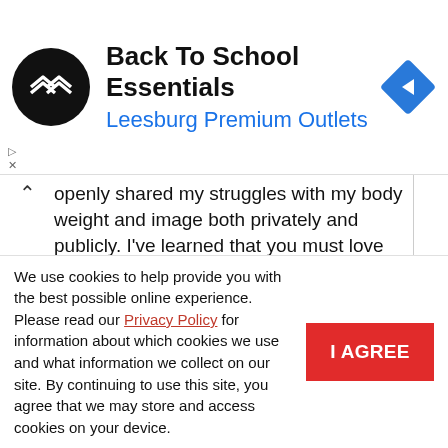[Figure (logo): Back To School Essentials ad banner with Leesburg Premium Outlets logo (black circle with white arrows), navigation icon (blue diamond with right arrow), and ad control icons]
openly shared my struggles with my body weight and image both privately and publicly. I've learned that you must love yourself and embrace your body for what it is all while doing your best to be healthy and whole.
I hope tonight's episode will help to renew a commitment to ourselves and others to support each other instead of scrutinize each other, to love each other instead of judge each other. If appearance is the only thing that defines you
We use cookies to help provide you with the best possible online experience. Please read our Privacy Policy for information about which cookies we use and what information we collect on our site. By continuing to use this site, you agree that we may store and access cookies on your device.